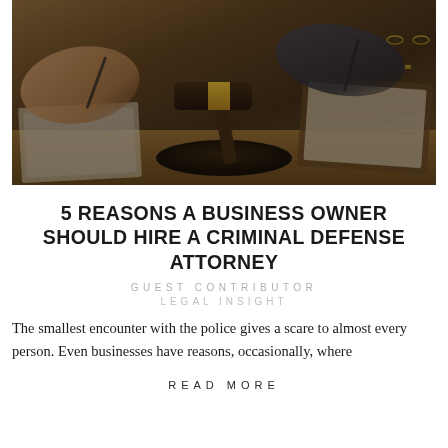[Figure (photo): Overhead photo of a legal consultation scene: hands over a notebook, a judge's gavel with gold band on a wooden desk, papers and clipboard, scales of justice visible in background, dark moody lighting]
5 REASONS A BUSINESS OWNER SHOULD HIRE A CRIMINAL DEFENSE ATTORNEY
GUEST CONTRIBUTOR
LEGAL INSIGHT
The smallest encounter with the police gives a scare to almost every person. Even businesses have reasons, occasionally, where
READ MORE